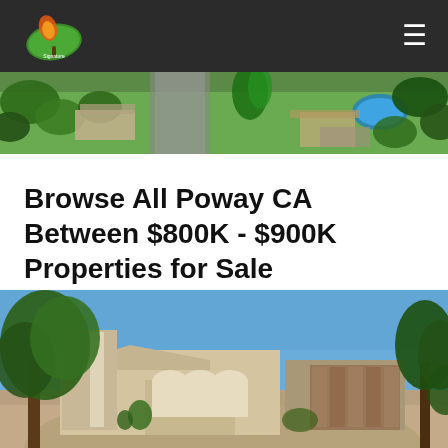[Figure (screenshot): Dark navigation bar with a green leaf logo on the left and hamburger menu icon on the right]
[Figure (photo): Aerial view strip showing residential neighborhood with trees, rooftops, a pool, and tropical vegetation]
Browse All Poway CA Between $800K - $900K Properties for Sale
[Figure (photo): Exterior photo of a single-story ranch-style home with arched entryways, stucco exterior, large oak tree in foreground, and paved driveway]